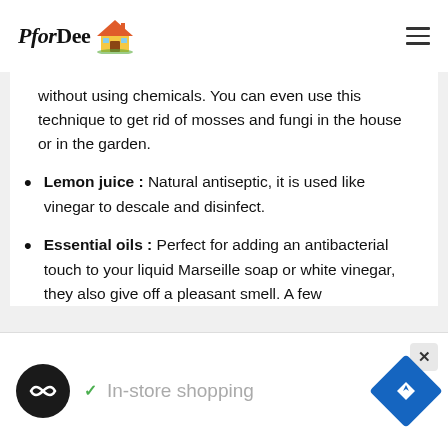PforDee
without using chemicals. You can even use this technique to get rid of mosses and fungi in the house or in the garden.
Lemon juice : Natural antiseptic, it is used like vinegar to descale and disinfect.
Essential oils : Perfect for adding an antibacterial touch to your liquid Marseille soap or white vinegar, they also give off a pleasant smell. A few drops for each daily...
[Figure (screenshot): Advertisement banner with Lestore shopping app icon, checkmark, 'In-store shopping' text, and navigation arrow icon]